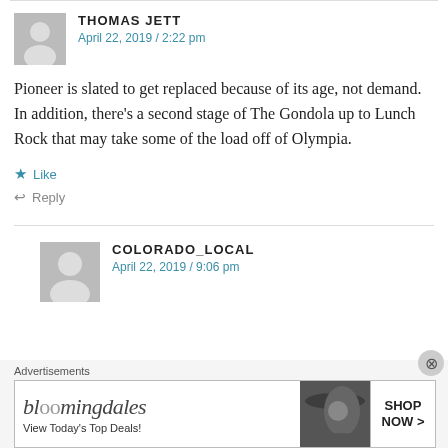THOMAS JETT
April 22, 2019 / 2:22 pm
Pioneer is slated to get replaced because of its age, not demand. In addition, there's a second stage of The Gondola up to Lunch Rock that may take some of the load off of Olympia.
Like
Reply
COLORADO_LOCAL
April 22, 2019 / 9:06 pm
Advertisements
[Figure (other): Bloomingdales advertisement banner: logo text 'bloomingdales', tagline 'View Today's Top Deals!', image of woman in hat, button 'SHOP NOW >']